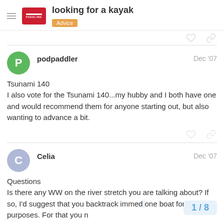looking for a kayak | Advice
podpaddler
Dec '07
Tsunami 140
I also vote for the Tsunami 140...my hubby and I both have one and would recommend them for anyone starting out, but also wanting to advance a bit.
Celia
Dec '07
Questions
Is there any WW on the river stretch you are talking about? If so, I'd suggest that you backtrack immed one boat for all purposes. For that you n
1 / 8